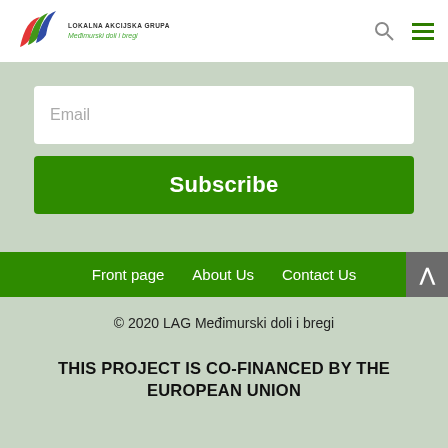[Figure (logo): Lokalna Akcijska Grupa - Međimurski doli i bregi logo with colorful swoosh graphic]
Email
Subscribe
Front page   About Us   Contact Us
© 2020 LAG Međimurski doli i bregi
THIS PROJECT IS CO-FINANCED BY THE EUROPEAN UNION